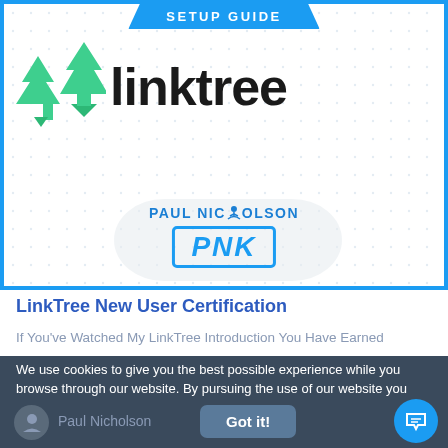[Figure (screenshot): Linktree setup guide banner with Linktree logo (two green triangle/tree icons and 'linktree' wordmark in dark text) and Paul Nicholson PNK badge below, all inside a blue border card with dot pattern background.]
LinkTree New User Certification
If You've Watched My LinkTree Introduction You Have Earned
We use cookies to give you the best possible experience while you browse through our website. By pursuing the use of our website you implicitly agree to the usage of cookies on this site.
Paul Nicholson
Got it!